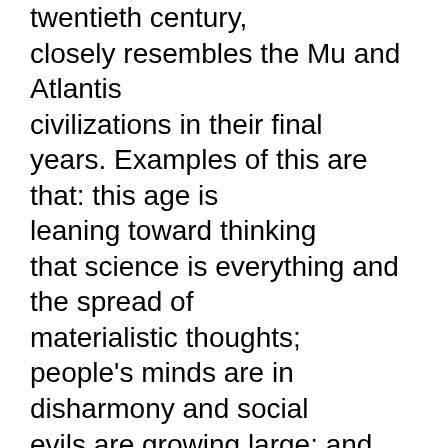twentieth century, closely resembles the Mu and Atlantis civilizations in their final years. Examples of this are that: this age is leaning toward thinking that science is everything and the spread of materialistic thoughts; people's minds are in disharmony and social evils are growing large; and many religious leaders are appearing to lead people astray while sincere religious leaders are also appearing in places around the world. Like in the past we can see this as a battle between good and evil or awareness and higher consciousness or a lack of that